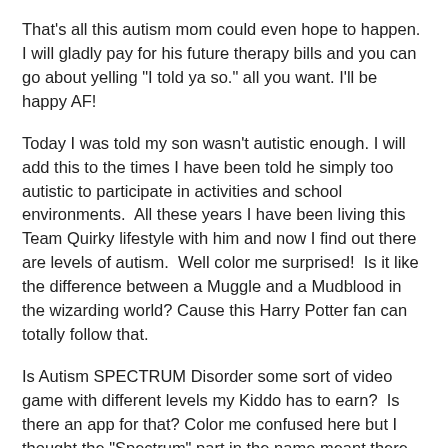That's all this autism mom could even hope to happen.  I will gladly pay for his future therapy bills and you can go about yelling "I told ya so." all you want. I'll be happy AF!
Today I was told my son wasn't autistic enough. I will add this to the times I have been told he simply too autistic to participate in activities and school environments.  All these years I have been living this Team Quirky lifestyle with him and now I find out there are levels of autism.  Well color me surprised!  Is it like the difference between a Muggle and a Mudblood in the wizarding world? Cause this Harry Potter fan can totally follow that.
Is Autism SPECTRUM Disorder some sort of video game with different levels my Kiddo has to earn?  Is there an app for that? Color me confused here but I thought the "Spectrum" part in the name meant there was more than one way to be with autism.